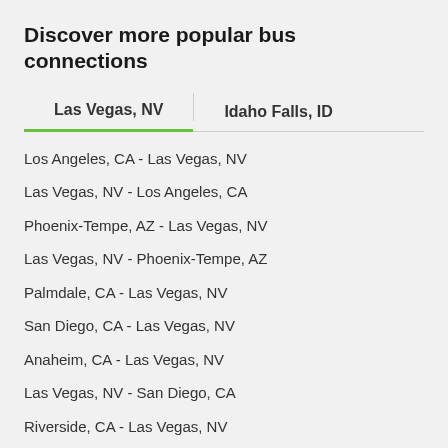Discover more popular bus connections
Las Vegas, NV | Idaho Falls, ID
Los Angeles, CA - Las Vegas, NV
Las Vegas, NV - Los Angeles, CA
Phoenix-Tempe, AZ - Las Vegas, NV
Las Vegas, NV - Phoenix-Tempe, AZ
Palmdale, CA - Las Vegas, NV
San Diego, CA - Las Vegas, NV
Anaheim, CA - Las Vegas, NV
Las Vegas, NV - San Diego, CA
Riverside, CA - Las Vegas, NV
San Bernardino, CA - Las Vegas, NV
Ontario / Montclair / Claremont, CA - Las Vegas, NV